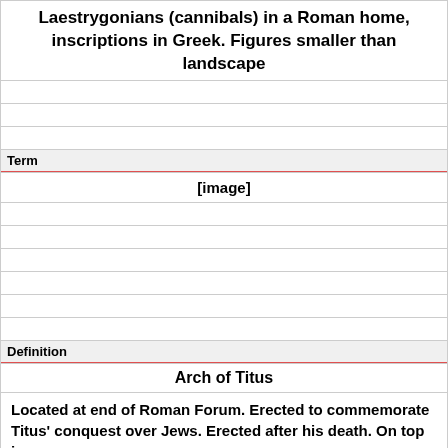Laestrygonians (cannibals) in a Roman home, inscriptions in Greek. Figures smaller than landscape
Term
[Figure (other): [image]]
Definition
Arch of Titus
Located at end of Roman Forum. Erected to commemorate Titus' conquest over Jews. Erected after his death. On top is